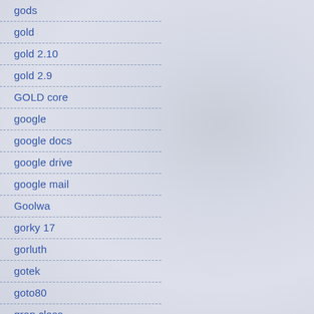gods
gold
gold 2.10
gold 2.9
GOLD core
google
google docs
google drive
google mail
Goolwa
gorky 17
gorluth
gotek
goto80
gran class
grange
granite island
graphic card
graphics